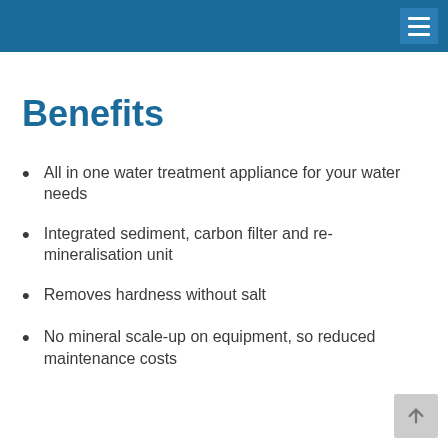Benefits
All in one water treatment appliance for your water needs
Integrated sediment, carbon filter and re-mineralisation unit
Removes hardness without salt
No mineral scale-up on equipment, so reduced maintenance costs